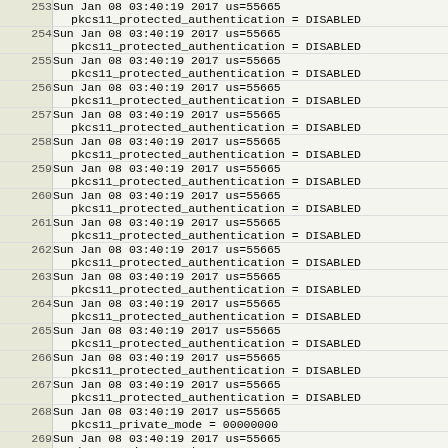| Line | Content |
| --- | --- |
| 253 | Sun Jan 08 03:40:19 2017 us=55665
    pkcs11_protected_authentication = DISABLED |
| 254 | Sun Jan 08 03:40:19 2017 us=55665
    pkcs11_protected_authentication = DISABLED |
| 255 | Sun Jan 08 03:40:19 2017 us=55665
    pkcs11_protected_authentication = DISABLED |
| 256 | Sun Jan 08 03:40:19 2017 us=55665
    pkcs11_protected_authentication = DISABLED |
| 257 | Sun Jan 08 03:40:19 2017 us=55665
    pkcs11_protected_authentication = DISABLED |
| 258 | Sun Jan 08 03:40:19 2017 us=55665
    pkcs11_protected_authentication = DISABLED |
| 259 | Sun Jan 08 03:40:19 2017 us=55665
    pkcs11_protected_authentication = DISABLED |
| 260 | Sun Jan 08 03:40:19 2017 us=55665
    pkcs11_protected_authentication = DISABLED |
| 261 | Sun Jan 08 03:40:19 2017 us=55665
    pkcs11_protected_authentication = DISABLED |
| 262 | Sun Jan 08 03:40:19 2017 us=55665
    pkcs11_protected_authentication = DISABLED |
| 263 | Sun Jan 08 03:40:19 2017 us=55665
    pkcs11_protected_authentication = DISABLED |
| 264 | Sun Jan 08 03:40:19 2017 us=55665
    pkcs11_protected_authentication = DISABLED |
| 265 | Sun Jan 08 03:40:19 2017 us=55665
    pkcs11_protected_authentication = DISABLED |
| 266 | Sun Jan 08 03:40:19 2017 us=55665
    pkcs11_protected_authentication = DISABLED |
| 267 | Sun Jan 08 03:40:19 2017 us=55665
    pkcs11_protected_authentication = DISABLED |
| 268 | Sun Jan 08 03:40:19 2017 us=55665
    pkcs11_private_mode = 00000000 |
| 269 | Sun Jan 08 03:40:19 2017 us=55665
    pkcs11_private_mode = 00000000 |